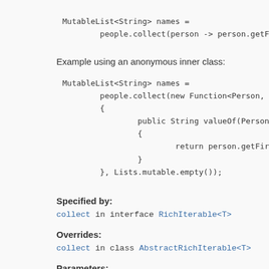MutableList<String> names =
        people.collect(person -> person.getFirstName
Example using an anonymous inner class:
MutableList<String> names =
        people.collect(new Function<Person, String>(
        {
                public String valueOf(Person person)
                {
                        return person.getFirstName() + " " +
                }
        }, Lists.mutable.empty());
Specified by:
collect in interface RichIterable<T>
Overrides:
collect in class AbstractRichIterable<T>
Parameters:
function - a Function to use as the collect